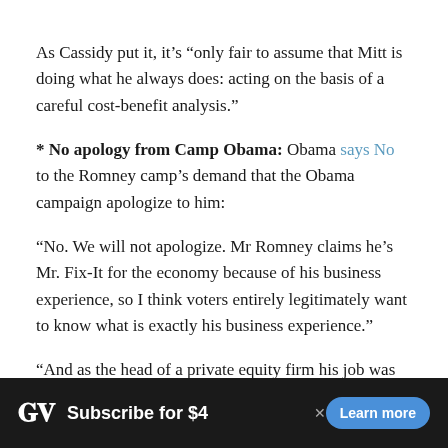As Cassidy put it, it’s “only fair to assume that Mitt is doing what he always does: acting on the basis of a careful cost-benefit analysis.”
* No apology from Camp Obama: Obama says No to the Romney camp’s demand that the Obama campaign apologize to him:
“No. We will not apologize. Mr Romney claims he’s Mr. Fix-It for the economy because of his business experience, so I think voters entirely legitimately want to know what is exactly his business experience.”
“And as the head of a private equity firm his job was to maximize profits and help investors. There is nothing wrong
[Figure (other): Washington Post advertisement banner: WP logo, 'Subscribe for $4', 'Learn more' button]